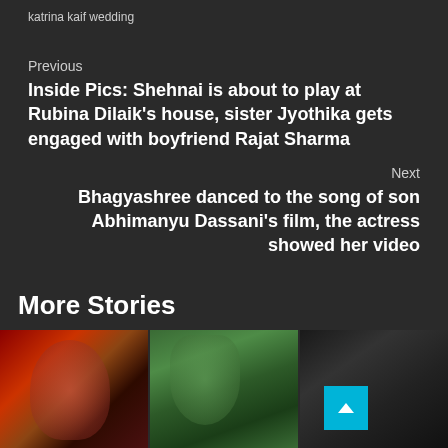katrina kaif wedding
Previous
Inside Pics: Shehnai is about to play at Rubina Dilaik's house, sister Jyothika gets engaged with boyfriend Rajat Sharma
Next
Bhagyashree danced to the song of son Abhimanyu Dassani's film, the actress showed her video
More Stories
[Figure (photo): Woman with dramatic red/dark makeup and styling]
[Figure (photo): Person wearing a green turban]
[Figure (photo): Dark monochrome photo of a person]